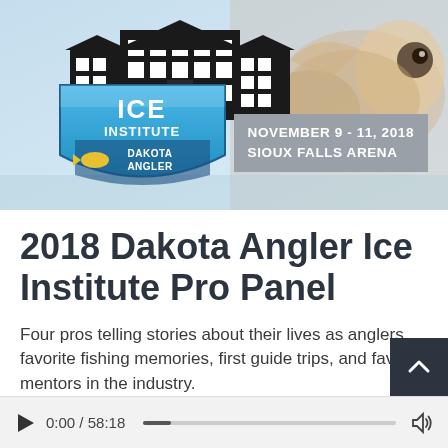[Figure (illustration): Banner image for the 2018 Dakota Angler Ice Institute event. Shows a building silhouette/logo with ICE INSTITUTE and Dakota Angler shield badge on the left, a fish photo on the right, and a gray box with text 'NOVEMBER 9-11, 2018 SIOUX FALLS ARENA'.]
2018 Dakota Angler Ice Institute Pro Panel
Four pros telling stories about their lives as anglers, favorite fishing memories, first guide trips, and favorite mentors in the industry.
[Figure (screenshot): Audio player UI showing play button, time 0:00 / 58:18, progress bar, and volume icon.]